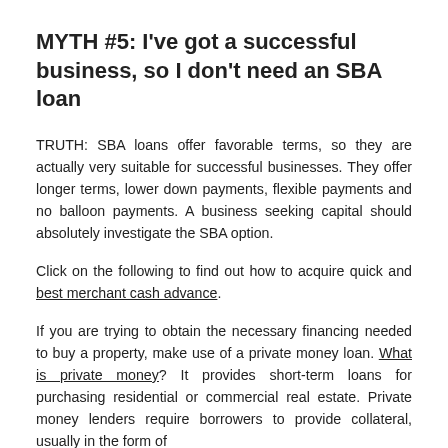MYTH #5: I've got a successful business, so I don't need an SBA loan
TRUTH: SBA loans offer favorable terms, so they are actually very suitable for successful businesses. They offer longer terms, lower down payments, flexible payments and no balloon payments. A business seeking capital should absolutely investigate the SBA option.
Click on the following to find out how to acquire quick and best merchant cash advance.
If you are trying to obtain the necessary financing needed to buy a property, make use of a private money loan. What is private money? It provides short-term loans for purchasing residential or commercial real estate. Private money lenders require borrowers to provide collateral, usually in the form of real estate.